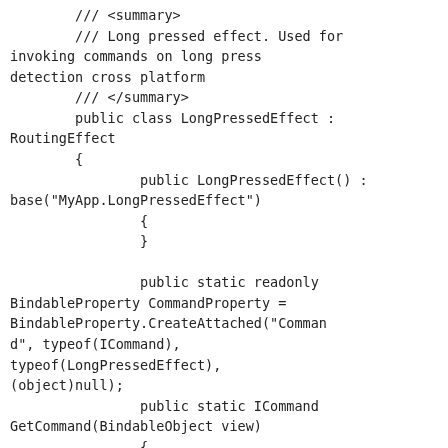/// <summary>
        /// Long pressed effect. Used for invoking commands on long press detection cross platform
        /// </summary>
        public class LongPressedEffect : RoutingEffect
        {
                public LongPressedEffect() : base("MyApp.LongPressedEffect")
                {
                }

                public static readonly BindableProperty CommandProperty = BindableProperty.CreateAttached("Command", typeof(ICommand), typeof(LongPressedEffect), (object)null);
                public static ICommand GetCommand(BindableObject view)
                {
                        return (ICommand)view.GetValue(CommandProperty);
                };